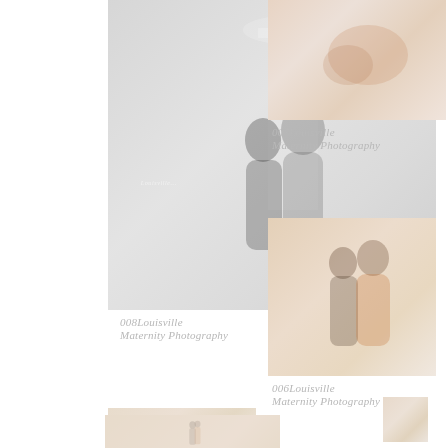[Figure (photo): Large black and white maternity photo of couple embracing near a white gazebo/column structure]
008Louisville
Maternity Photography
[Figure (photo): Color photo of couple, woman in orange floral dress, taken from above angle]
007Louisville
Maternity Photography
[Figure (photo): Color photo of couple embracing, woman in orange/floral outfit]
006Louisville
Maternity Photography
[Figure (photo): Color photo of couple, woman in floral dress, man in dark clothing, lower portion of page]
[Figure (photo): Small color photo of woman, bottom right corner]